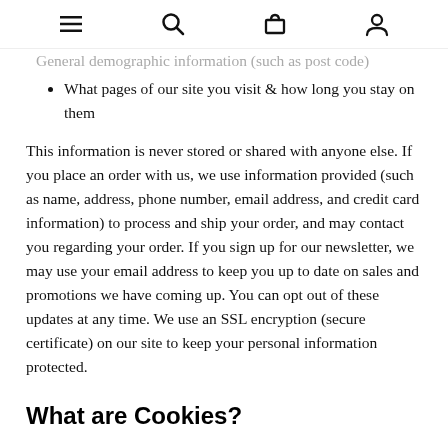[navigation icons: menu, search, cart, account]
General demographic information (such as post code) [truncated top]
What pages of our site you visit & how long you stay on them
This information is never stored or shared with anyone else. If you place an order with us, we use information provided (such as name, address, phone number, email address, and credit card information) to process and ship your order, and may contact you regarding your order. If you sign up for our newsletter, we may use your email address to keep you up to date on sales and promotions we have coming up. You can opt out of these updates at any time. We use an SSL encryption (secure certificate) on our site to keep your personal information protected.
What are Cookies?
Cookies are tools that the internet uses to track what sites you've visited and make future recommendations to you based on your interests and preferences. They are designed to create a more customized experience for web users. Our site uses the Google Analytics cookie to collect information, provide a more customized [truncated]